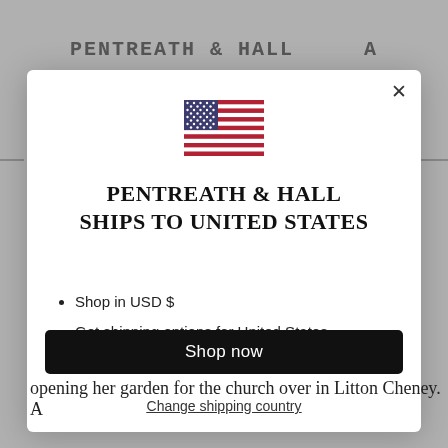PENTREATH & HALL
[Figure (illustration): US flag emoji/icon centered in modal]
PENTREATH & HALL SHIPS TO UNITED STATES
Shop in USD $
Get shipping options for United States
Shop now
Change shipping country
opening her garden for the church over in Litton Cheney. A